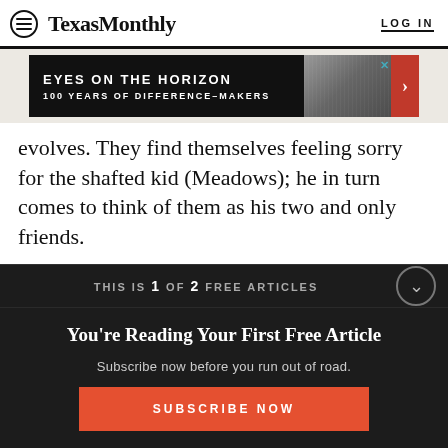Texas Monthly | LOG IN
[Figure (screenshot): Advertisement banner: EYES ON THE HORIZON — 100 YEARS OF DIFFERENCE-MAKERS with building photo and red arrow]
evolves. They find themselves feeling sorry for the shafted kid (Meadows); he in turn comes to think of them as his two and only friends.
THIS IS 1 OF 2 FREE ARTICLES
You're Reading Your First Free Article
Subscribe now before you run out of road.
SUBSCRIBE NOW
Already a subscriber? Log in